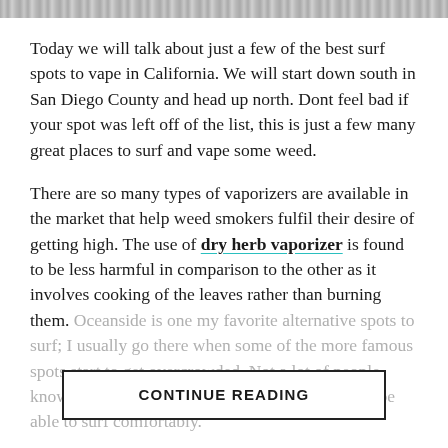Today we will talk about just a few of the best surf spots to vape in California. We will start down south in San Diego County and head up north. Dont feel bad if your spot was left off of the list, this is just a few many great places to surf and vape some weed.
There are so many types of vaporizers are available in the market that help weed smokers fulfil their desire of getting high. The use of dry herb vaporizer is found to be less harmful in comparison to the other as it involves cooking of the leaves rather than burning them. Oceanside is one my favorite alternative spots to surf; I usually go there when some of the more famous spots start to get overcrowded. Not a lot of people know about it besides local surfers so you should be able to surf comfortably.
CONTINUE READING